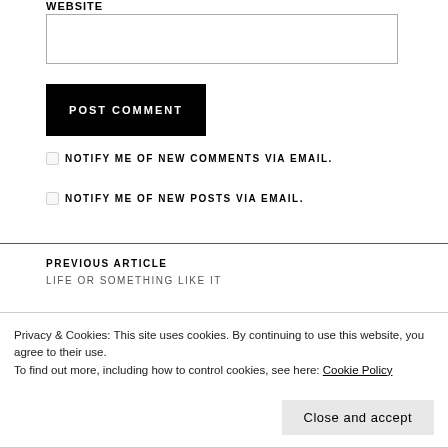WEBSITE
[text input field]
POST COMMENT
NOTIFY ME OF NEW COMMENTS VIA EMAIL.
NOTIFY ME OF NEW POSTS VIA EMAIL.
PREVIOUS ARTICLE
LIFE OR SOMETHING LIKE IT
Privacy & Cookies: This site uses cookies. By continuing to use this website, you agree to their use.
To find out more, including how to control cookies, see here: Cookie Policy
Close and accept